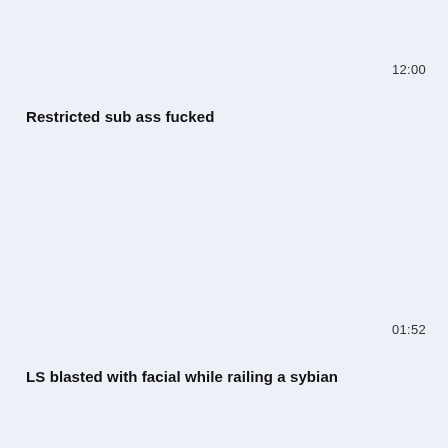12:00
Restricted sub ass fucked
01:52
LS blasted with facial while railing a sybian